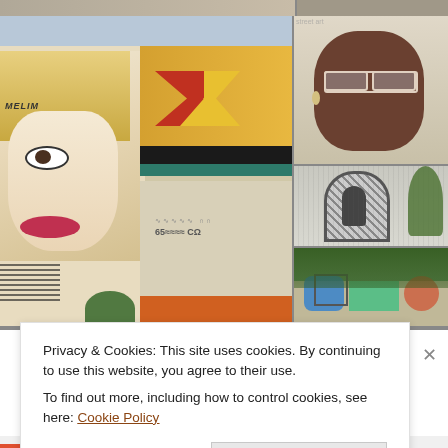[Figure (photo): Collage of street art / mural photos. Large left photo shows a tall building with a pop-art style painted woman (blonde, comic-book style) and graffiti panels. Top-right shows a portrait mural of an elderly Black woman with glasses. Middle-right shows a black-and-white mosaic mural of a figure in an arch. Bottom-right shows a colorful street mural on a low building.]
Privacy & Cookies: This site uses cookies. By continuing to use this website, you agree to their use.
To find out more, including how to control cookies, see here: Cookie Policy
Close and accept